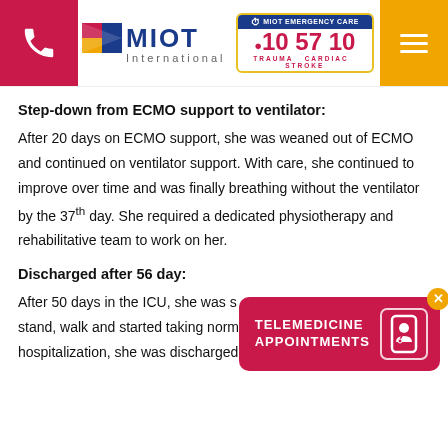MIOT International | MIOT Emergency Care 10 57 10 | Trauma Cardiac Stroke
Step-down from ECMO support to ventilator:
After 20 days on ECMO support, she was weaned out of ECMO and continued on ventilator support. With care, she continued to improve over time and was finally breathing without the ventilator by the 37th day. She required a dedicated physiotherapy and rehabilitative team to work on her.
Discharged after 56 day:
After 50 days in the ICU, she was s[tabilized to the point she could] stand, walk and started taking normal food. After 56 days of hospitalization, she was discharged and was back with her family
[Figure (infographic): Telemedicine Appointments popup button with close (X) button in orange, red background, white doctor/phone icon]